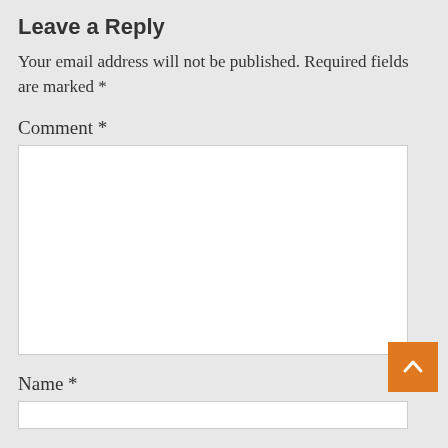Leave a Reply
Your email address will not be published. Required fields are marked *
Comment *
[Figure (other): Empty comment textarea input box]
[Figure (other): Orange scroll-to-top button with upward arrow]
Name *
[Figure (other): Empty name text input box]